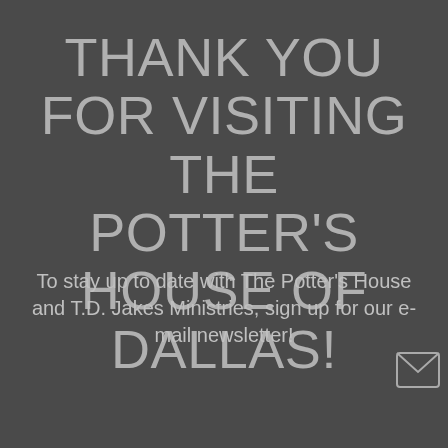THANK YOU FOR VISITING THE POTTER'S HOUSE OF DALLAS!
To stay up to date with The Potter's House and T.D. Jakes Ministries, sign up for our e-mail newsletter!
[Figure (other): Text input field with placeholder text 'Enter your name' and envelope icon to the right]
[Figure (other): Text input field with placeholder text 'Enter your e-mail addres']
[Figure (other): Purple button partially visible at bottom with text 'SIGN UP']